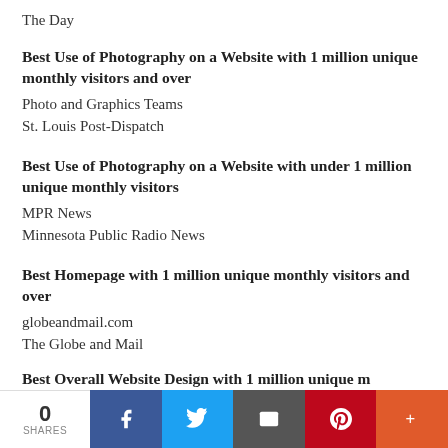The Day
Best Use of Photography on a Website with 1 million unique monthly visitors and over
Photo and Graphics Teams
St. Louis Post-Dispatch
Best Use of Photography on a Website with under 1 million unique monthly visitors
MPR News
Minnesota Public Radio News
Best Homepage with 1 million unique monthly visitors and over
globeandmail.com
The Globe and Mail
Best Overall Website Design with 1 million unique m…
0 SHARES | Facebook | Twitter | Email | Pinterest | More